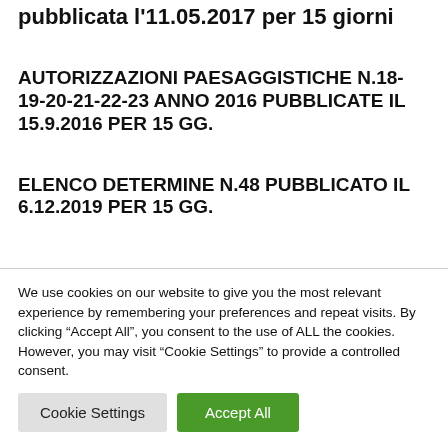pubblicata l'11.05.2017 per 15 giorni
AUTORIZZAZIONI PAESAGGISTICHE N.18-19-20-21-22-23 ANNO 2016 PUBBLICATE IL 15.9.2016 PER 15 GG.
ELENCO DETERMINE N.48 PUBBLICATO IL 6.12.2019 PER 15 GG.
We use cookies on our website to give you the most relevant experience by remembering your preferences and repeat visits. By clicking “Accept All”, you consent to the use of ALL the cookies. However, you may visit “Cookie Settings” to provide a controlled consent.